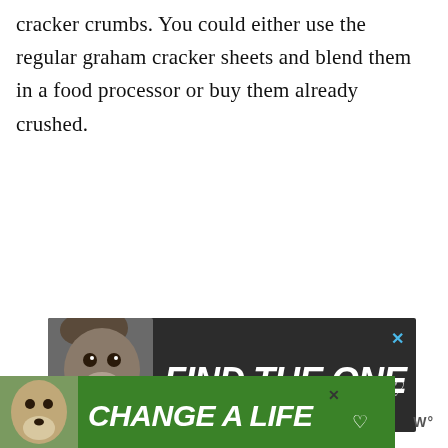cracker crumbs. You could either use the regular graham cracker sheets and blend them in a food processor or buy them already crushed.
[Figure (infographic): Dark advertisement banner with a dog photo on the left and bold white italic text 'FIND THE ONE' with a heart icon on dark background. Close (X) button in top right corner in blue.]
[Figure (infographic): Green advertisement banner at the bottom with a dog photo on the left and bold white italic text 'CHANGE A LIFE' with a heart icon. Close (X) button visible. Logo 'W°' on the right side.]